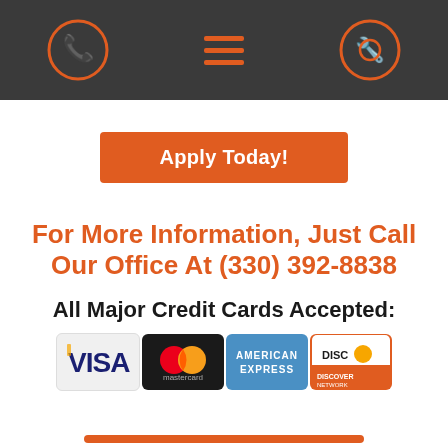[Navigation header with phone icon, menu icon, and tools icon]
Apply Today!
For More Information, Just Call Our Office At (330) 392-8838
All Major Credit Cards Accepted:
[Figure (logo): Four credit card logos: Visa, Mastercard, American Express, Discover Network]